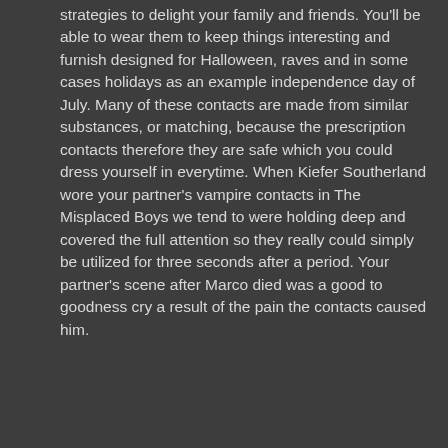strategies to delight your family and friends. You'll be able to wear them to keep things interesting and furnish designed for Halloween, raves and in some cases holidays as an example independence day of July. Many of these contacts are made from similar substances, or matching, because the prescription contacts therefore they are safe which you could dress yourself in everytime. When Kiefer Southerland wore your partner's vampire contacts in The Misplaced Boys we tend to were holding deep and covered the full attention so they really could simply be utilized for three seconds after a period. Your partner's scene after Marco died was a good to goodness cry a result of the pain the contacts caused him.